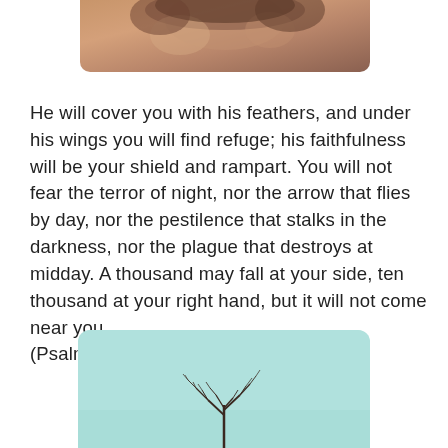[Figure (photo): Partial photo at top of page showing a person, warm/orange tones, cropped at the top edge]
He will cover you with his feathers, and under his wings you will find refuge; his faithfulness will be your shield and rampart. You will not fear the terror of night, nor the arrow that flies by day, nor the pestilence that stalks in the darkness, nor the plague that destroys at midday. A thousand may fall at your side, ten thousand at your right hand, but it will not come near you.
(Psalm 91:4-7 NIV)
[Figure (photo): Photo with light teal/aqua background showing bare tree branches silhouetted, partially visible at bottom of page]